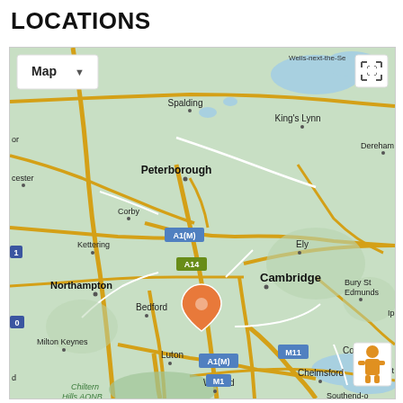LOCATIONS
[Figure (map): Google Maps view centered around Cambridge, England, UK. Shows roads, motorway labels (A1(M), A14, M11, M1), and place names including Spalding, King's Lynn, Wells-next-the-Sea, Dereham, Peterborough, Ely, Bury St Edmunds, Corby, Kettering, Northampton, Bedford, Cambridge, Milton Keynes, Luton, Watford, Chelmsford, Colchester, Chiltern Hills AONB, Southend-on-Sea (partial). An orange location pin marker is placed southwest of Cambridge. Map UI includes a 'Map' dropdown button, fullscreen icon, and pegman Street View icon.]